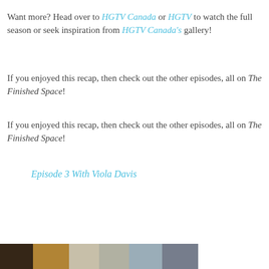Want more? Head over to HGTV Canada or HGTV to watch the full season or seek inspiration from HGTV Canada's gallery!
If you enjoyed this recap, then check out the other episodes, all on The Finished Space!
If you enjoyed this recap, then check out the other episodes, all on The Finished Space!
Episode 3 With Viola Davis
[Figure (photo): Partial photo strip at bottom of page showing people in interior/room settings]